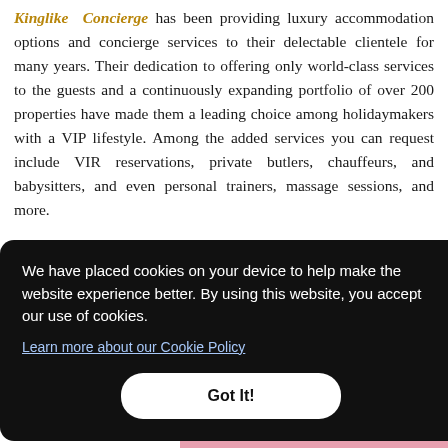Kinglike Concierge has been providing luxury accommodation options and concierge services to their delectable clientele for many years. Their dedication to offering only world-class services to the guests and a continuously expanding portfolio of over 200 properties have made them a leading choice among holidaymakers with a VIP lifestyle. Among the added services you can request include VIR reservations, private butlers, chauffeurs, and babysitters, and even personal trainers, massage sessions, and more.
We have placed cookies on your device to help make the website experience better. By using this website, you accept our use of cookies. Learn more about our Cookie Policy
[Figure (screenshot): Cookie consent overlay with black background, white text, a link to Cookie Policy, and a white rounded 'Got It!' button. A pink photo strip is partially visible at the bottom right.]